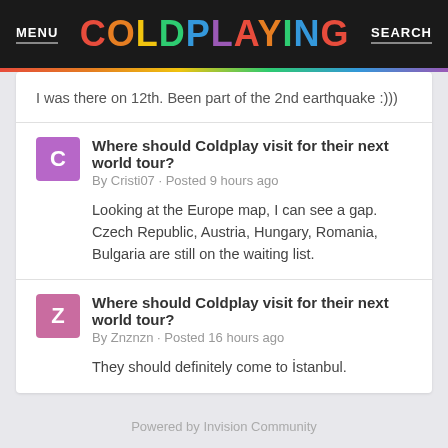MENU   COLDPLAYING   SEARCH
I was there on 12th. Been part of the 2nd earthquake :)))
Where should Coldplay visit for their next world tour?
By Cristi07 · Posted 9 hours ago
Looking at the Europe map, I can see a gap. Czech Republic, Austria, Hungary, Romania, Bulgaria are still on the waiting list.
Where should Coldplay visit for their next world tour?
By Znznzn · Posted 16 hours ago
They should definitely come to İstanbul.
Powered by Invision Community